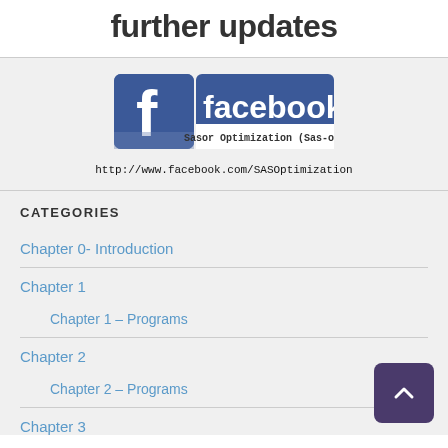further updates
[Figure (logo): Facebook logo with 'Sasor Optimization (Sas-or)' page name and URL http://www.facebook.com/SASOptimization]
CATEGORIES
Chapter 0- Introduction
Chapter 1
Chapter 1 – Programs
Chapter 2
Chapter 2 – Programs
Chapter 3